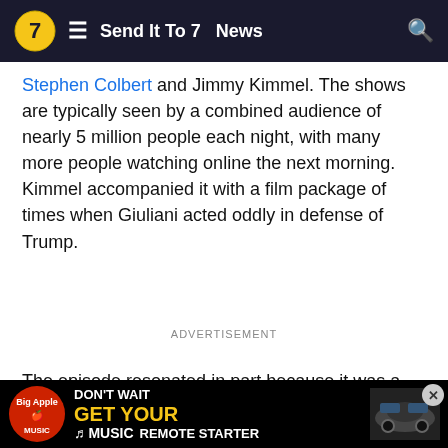Send It To 7   News
Stephen Colbert and Jimmy Kimmel. The shows are typically seen by a combined audience of nearly 5 million people each night, with many more people watching online the next morning. Kimmel accompanied it with a film package of times when Giuliani acted oddly in defense of Trump.
ADVERTISEMENT
The episode resonated in part because it was a connectable moment in an otherwise very serious story, said Ro... Bleier C...
[Figure (screenshot): Big Apple Music advertisement banner: Don't Wait GET YOUR Remote Starter, with car image and close button]